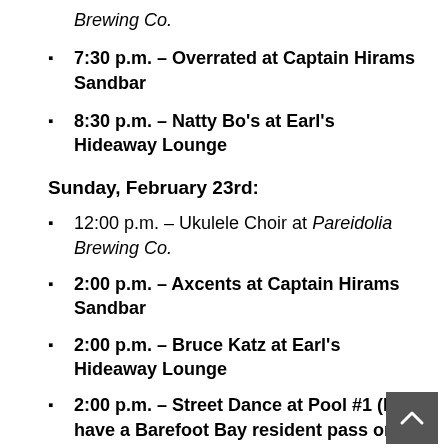Brewing Co.
7:30 p.m. – Overrated at Captain Hirams Sandbar
8:30 p.m. – Natty Bo's at Earl's Hideaway Lounge
Sunday, February 23rd:
12:00 p.m. – Ukulele Choir at Pareidolia Brewing Co.
2:00 p.m. – Axcents at Captain Hirams Sandbar
2:00 p.m. – Bruce Katz at Earl's Hideaway Lounge
2:00 p.m. – Street Dance at Pool #1 (M… have a Barefoot Bay resident pass or